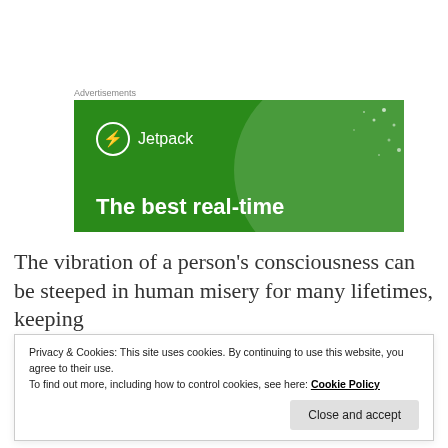Advertisements
[Figure (illustration): Green Jetpack advertisement banner with logo, lightning bolt icon, decorative circle and dots, and tagline 'The best real-time']
The vibration of a person's consciousness can be steeped in human misery for many lifetimes, keeping
Privacy & Cookies: This site uses cookies. By continuing to use this website, you agree to their use.
To find out more, including how to control cookies, see here: Cookie Policy
Close and accept
enough for them to begin awakening to their divine